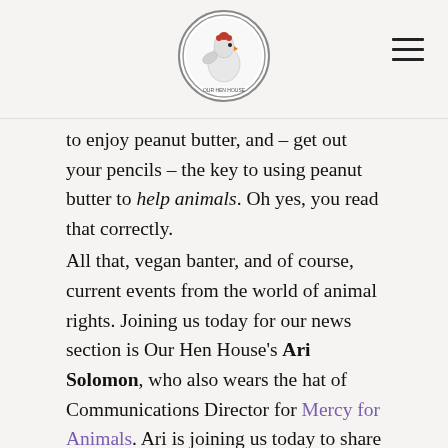[Our Hen House logo and hamburger menu]
to enjoy peanut butter, and – get out your pencils – the key to using peanut butter to help animals. Oh yes, you read that correctly.
All that, vegan banter, and of course, current events from the world of animal rights. Joining us today for our news section is Our Hen House's Ari Solomon, who also wears the hat of Communications Director for Mercy for Animals. Ari is joining us today to share the latest about Mercy for Animals brand new investigation, which broke this week. And wow, this one's a doozy. You won't want to miss what Ari has to say about it.
For a list of the news items we discuss in today's episode, and then some, take a look at the breaking news ticker at the